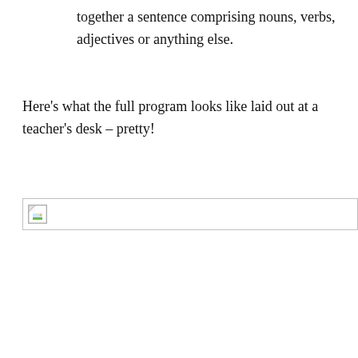together a sentence comprising nouns, verbs, adjectives or anything else.
Here's what the full program looks like laid out at a teacher's desk – pretty!
[Figure (photo): Broken/missing image placeholder icon — a small landscape thumbnail icon with a torn corner, shown inside a bordered rectangle representing an image that failed to load.]